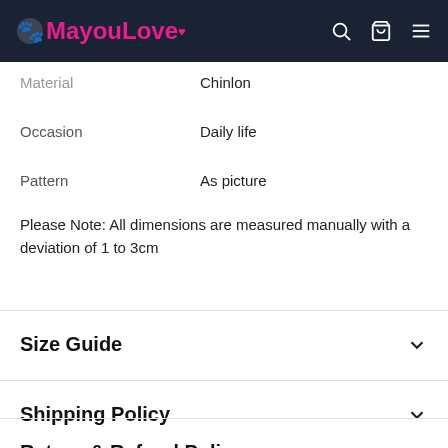MayouLove
| Attribute | Value |
| --- | --- |
| Material | Chinlon |
| Occasion | Daily life |
| Pattern | As picture |
Please Note: All dimensions are measured manually with a deviation of 1 to 3cm
Size Guide
Shipping Policy
Return & Refund Policy